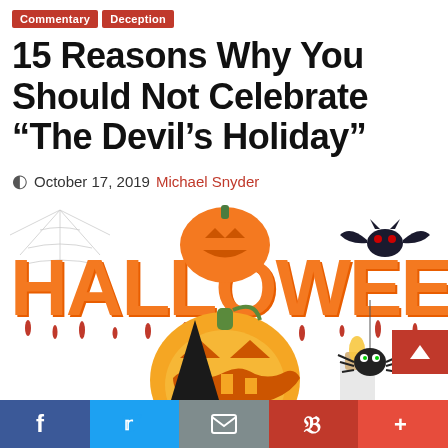Commentary | Deception
15 Reasons Why You Should Not Celebrate “The Devil’s Holiday”
October 17, 2019  Michael Snyder
[Figure (illustration): Halloween themed illustration with orange HALLOWEEN text dripping with blood, pumpkins, a bat, spider, witch hat, and candle on a white background]
f    ✉  p  +